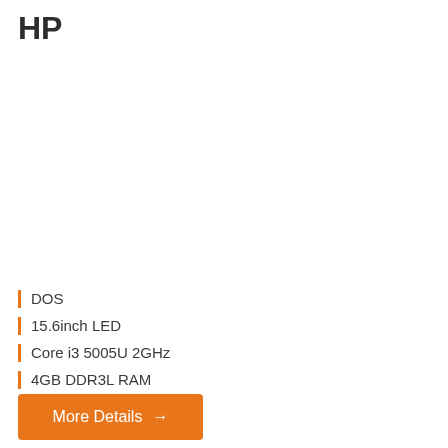HP
| DOS
| 15.6inch LED
| Core i3 5005U 2GHz
| 4GB DDR3L RAM
| 1TB HDD (5400rpm)
More Details →